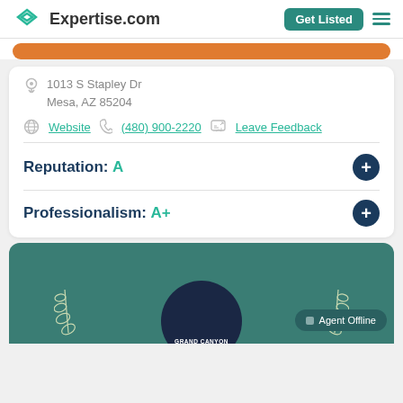Expertise.com | Get Listed
1013 S Stapley Dr
Mesa, AZ 85204
Website  (480) 900-2220  Leave Feedback
Reputation: A
Professionalism: A+
[Figure (screenshot): Teal card with Grand Canyon logo, laurel leaves, and Agent Offline button]